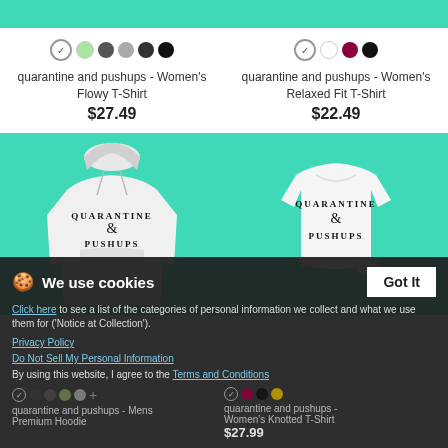[Figure (photo): Top portion of quarantine and pushups Women's Flowy T-Shirt product image on teal background (cropped)]
[Figure (photo): Top portion of quarantine and pushups Women's Relaxed Fit T-Shirt product image on teal background (cropped)]
quarantine and pushups - Women's Flowy T-Shirt
$27.49
quarantine and pushups - Women's Relaxed Fit T-Shirt
$22.49
[Figure (photo): quarantine and pushups - Mens Premium Hoodie white hoodie on teal background]
[Figure (photo): quarantine and pushups - Women's Knotted T-Shirt white crop top on teal background]
quarantine and pushups - Mens Premium Hoodie
quarantine and pushups - Women's Knotted T-Shirt
$27.99
We use cookies
Click here to see a list of the categories of personal information we collect and what we use them for ('Notice at Collection').
Privacy Policy
Do Not Sell My Personal Information
By using this website, I agree to the Terms and Conditions